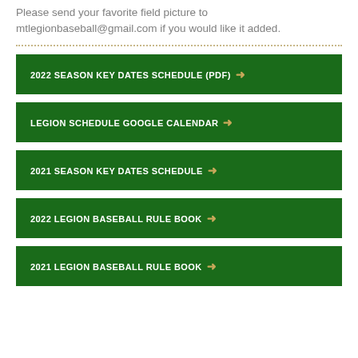Please send your favorite field picture to mtlegionbaseball@gmail.com if you would like it added.
2022 SEASON KEY DATES SCHEDULE (PDF) →
LEGION SCHEDULE GOOGLE CALENDAR →
2021 SEASON KEY DATES SCHEDULE →
2022 LEGION BASEBALL RULE BOOK →
2021 LEGION BASEBALL RULE BOOK →